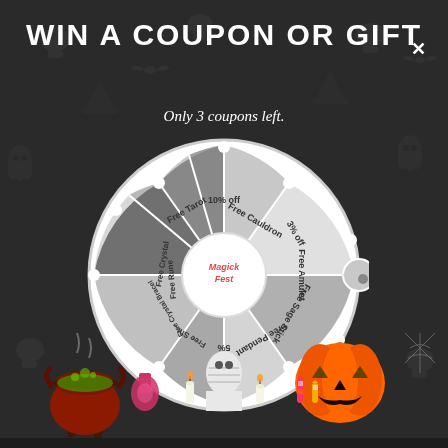WIN A COUPON OR GIFT ✕
Only 3 coupons left.
[Figure (infographic): A Halloween-themed spin-the-wheel prize wheel with segments labeled: Free Cauldron, 3% off, Free Amulet, Free Sage Stick, Free Pendant, 5%, Free Shipping, Free Crystal Bracelet, Free Rune, Free Crystal, Free Tarot, 10% off. Center shows Magick logo. A pointer arrow is at the right side. Below the wheel are Halloween decorations: cauldron, pumpkins, potions, candles.]